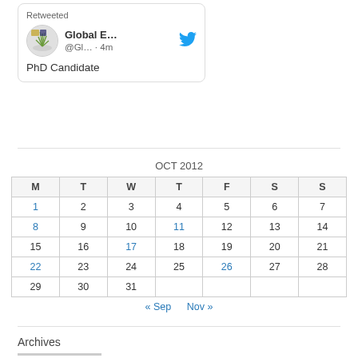[Figure (screenshot): Twitter retweet card showing Global E... account @Gl... with avatar, blue Twitter bird icon, posted 4m ago]
PhD Candidate
| M | T | W | T | F | S | S |
| --- | --- | --- | --- | --- | --- | --- |
| 1 | 2 | 3 | 4 | 5 | 6 | 7 |
| 8 | 9 | 10 | 11 | 12 | 13 | 14 |
| 15 | 16 | 17 | 18 | 19 | 20 | 21 |
| 22 | 23 | 24 | 25 | 26 | 27 | 28 |
| 29 | 30 | 31 |  |  |  |  |
« Sep   Nov »
Archives